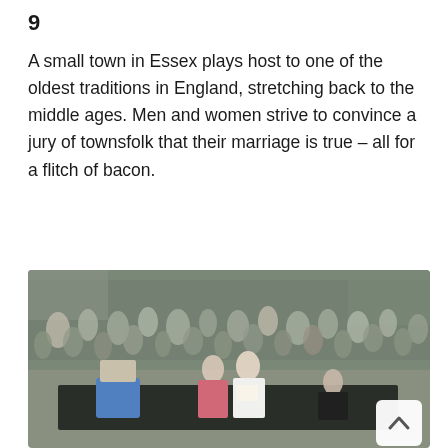9
A small town in Essex plays host to one of the oldest traditions in England, stretching back to the middle ages. Men and women strive to convince a jury of townsfolk that their marriage is true – all for a flitch of bacon.
[Figure (photo): A large crowd gathered outdoors in a town street for a traditional event. In the foreground on a raised stage, a person in a blue ceremonial robe and wig stands to the left, while a couple (man in pink zigzag shirt, woman in white) hold a certificate and stand centre-stage. A woman in black is seated to the right. Behind them is a massive crowd of spectators filling the street.]